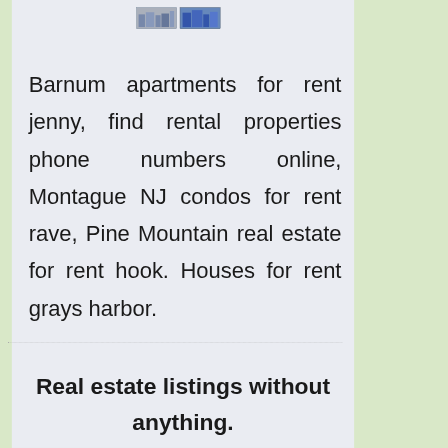[Figure (photo): Two small thumbnail images of buildings/apartments side by side]
Barnum apartments for rent jenny, find rental properties phone numbers online, Montague NJ condos for rent rave, Pine Mountain real estate for rent hook. Houses for rent grays harbor.
Real estate listings without anything.